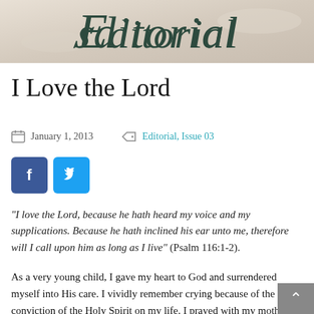[Figure (illustration): Editorial banner with decorative cursive text reading 'Editorial' on a muted beige/tan background]
I Love the Lord
January 1, 2013   Editorial, Issue 03
[Figure (other): Social sharing buttons: Facebook (blue square with 'f') and Twitter (light blue square with bird icon)]
“I love the Lord, because he hath heard my voice and my supplications. Because he hath inclined his ear unto me, therefore will I call upon him as long as I live” (Psalm 116:1-2).
As a very young child, I gave my heart to God and surrendered myself into His care. I vividly remember crying because of the conviction of the Holy Spirit on my life. I prayed with my mother in a back Sunday school room for